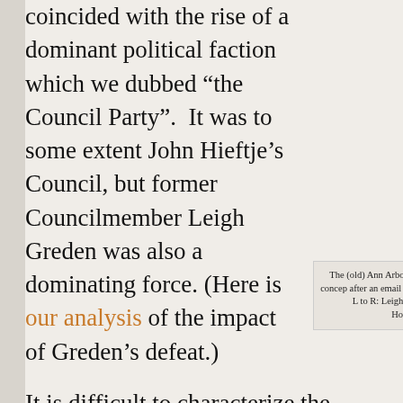coincided with the rise of a dominant political faction which we dubbed “the Council Party”. It was to some extent John Hieftje’s Council, but former Councilmember Leigh Greden was also a dominating force. (Here is our analysis of the impact of Greden’s defeat.)
The (old) Ann Arbor News’ concep after an email scandal. L to R: Leigh Carsten Hohnke, M
It is difficult to characterize the Council Party’s agenda succinctly but it has principally been pro-develop liberal on social and environmental issues, and relatively Arbor residents and taxpayers, showing a willingness to p redirect those resources to favored initiatives. Under the Administrator Roger Fraser (hired in the first year of Joh city staff have been pared severely and departments comb